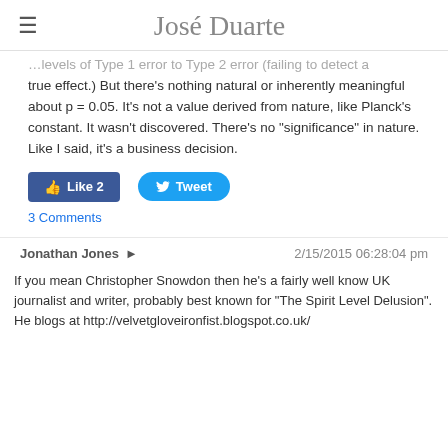José Duarte
…levels of Type 1 error to Type 2 error (failing to detect a true effect.) But there's nothing natural or inherently meaningful about p = 0.05. It's not a value derived from nature, like Planck's constant. It wasn't discovered. There's no "significance" in nature. Like I said, it's a business decision.
[Figure (other): Social sharing buttons: Facebook Like (count 2) and Twitter Tweet]
3 Comments
Jonathan Jones   2/15/2015 06:28:04 pm
If you mean Christopher Snowdon then he's a fairly well know UK journalist and writer, probably best known for "The Spirit Level Delusion". He blogs at http://velvetgloveironfist.blogspot.co.uk/